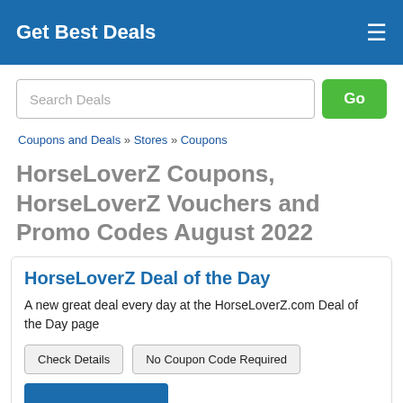Get Best Deals
Search Deals
Coupons and Deals » Stores » Coupons
HorseLoverZ Coupons, HorseLoverZ Vouchers and Promo Codes August 2022
HorseLoverZ Deal of the Day
A new great deal every day at the HorseLoverZ.com Deal of the Day page
Check Details   No Coupon Code Required